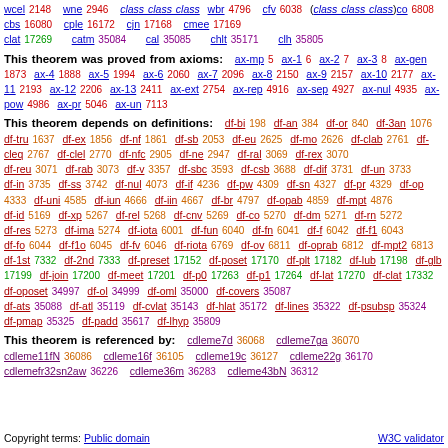wcel 2148  wne 2946  class class class  wbr 4796  cfv 6038  (class class class)co 6808  cbs 16080  cple 16172  cjn 17168  cmee 17169  clat 17269  catm 35084  cal 35085  chlt 35171  clh 35805
This theorem was proved from axioms: ax-mp 5 ax-1 6 ax-2 7 ax-3 8 ax-gen 1873 ax-4 1888 ax-5 1994 ax-6 2060 ax-7 2096 ax-8 2150 ax-9 2157 ax-10 2177 ax-11 2193 ax-12 2206 ax-13 2411 ax-ext 2754 ax-rep 4916 ax-sep 4927 ax-nul 4935 ax-pow 4986 ax-pr 5046 ax-un 7113
This theorem depends on definitions: df-bi 198 df-an 384 df-or 840 df-3an 1076 df-tru 1637 df-ex 1856 df-nf 1861 df-sb 2053 df-eu 2625 df-mo 2626 df-clab 2761 df-cleq 2767 df-clel 2770 df-nfc 2905 df-ne 2947 df-ral 3069 df-rex 3070 df-reu 3071 df-rab 3073 df-v 3357 df-sbc 3593 df-csb 3688 df-dif 3731 df-un 3733 df-in 3735 df-ss 3742 df-nul 4073 df-if 4236 df-pw 4309 df-sn 4327 df-pr 4329 df-op 4333 df-uni 4585 df-iun 4666 df-iin 4667 df-br 4797 df-opab 4859 df-mpt 4876 df-id 5169 df-xp 5267 df-rel 5268 df-cnv 5269 df-co 5270 df-dm 5271 df-rn 5272 df-res 5273 df-ima 5274 df-iota 6001 df-fun 6040 df-fn 6041 df-f 6042 df-f1 6043 df-fo 6044 df-f1o 6045 df-fv 6046 df-riota 6769 df-ov 6811 df-oprab 6812 df-mpt2 6813 df-1st 7332 df-2nd 7333 df-preset 17152 df-poset 17170 df-plt 17182 df-lub 17198 df-glb 17199 df-join 17200 df-meet 17201 df-p0 17263 df-p1 17264 df-lat 17270 df-clat 17332 df-oposet 34997 df-ol 34999 df-oml 35000 df-covers 35087 df-ats 35088 df-atl 35119 df-cvlat 35143 df-hlat 35172 df-lines 35322 df-psubsp 35324 df-pmap 35325 df-padd 35617 df-lhyp 35809
This theorem is referenced by: cdleme7d 36068 cdleme7ga 36070 cdleme11fN 36086 cdleme16f 36105 cdleme19c 36127 cdleme22g 36170 cdlemefr32sn2aw 36226 cdleme36m 36283 cdleme43bN 36312
Copyright terms: Public domain    W3C validator